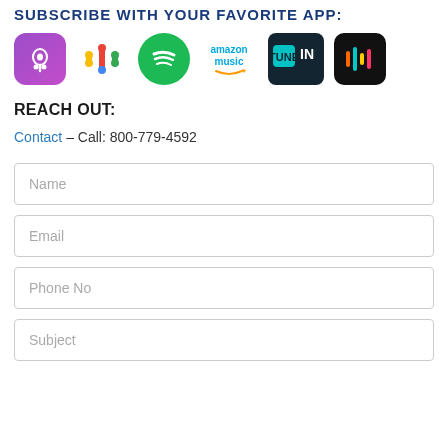SUBSCRIBE WITH YOUR FAVORITE APP:
[Figure (infographic): Row of podcast app icons: Apple Podcasts (purple rounded square), Google Podcasts (colorful dots), Spotify (green circle), Amazon Music (text logo), TuneIn (dark rounded rectangle), Stitcher (black rounded square)]
REACH OUT:
Contact – Call: 800-779-4592
Name
Email
Phone No
Subject